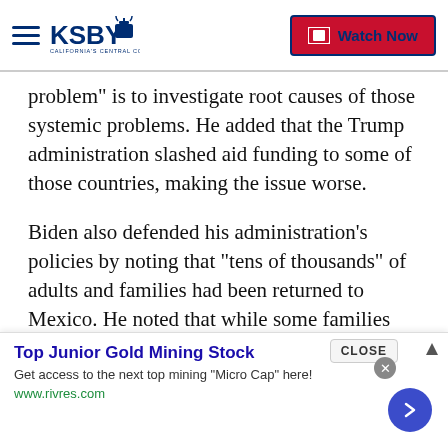KSBY California's Central Coast | Watch Now
problem" is to investigate root causes of those systemic problems. He added that the Trump administration slashed aid funding to some of those countries, making the issue worse.
Biden also defended his administration's policies by noting that "tens of thousands" of adults and families had been returned to Mexico. He noted that while some families have been able to enter the U.S. because Mexico would not allow them to be returned, he said that his administration was working with Mexican officials to end that policy.
[Figure (screenshot): Advertisement banner: Top Junior Gold Mining Stock - Get access to the next top mining "Micro Cap" here! www.rivres.com]